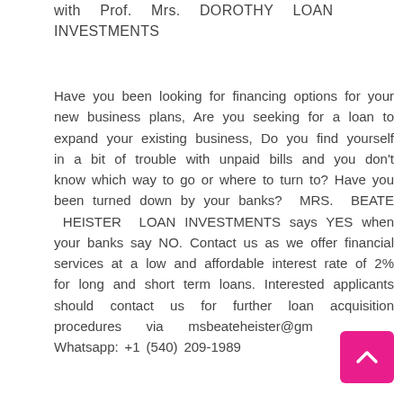with Prof. Mrs. DOROTHY LOAN INVESTMENTS
Have you been looking for financing options for your new business plans, Are you seeking for a loan to expand your existing business, Do you find yourself in a bit of trouble with unpaid bills and you don't know which way to go or where to turn to? Have you been turned down by your banks? MRS. BEATE HEISTER LOAN INVESTMENTS says YES when your banks say NO. Contact us as we offer financial services at a low and affordable interest rate of 2% for long and short term loans. Interested applicants should contact us for further loan acquisition procedures via msbeateheister@gmail.com Whatsapp: +1 (540) 209-1989